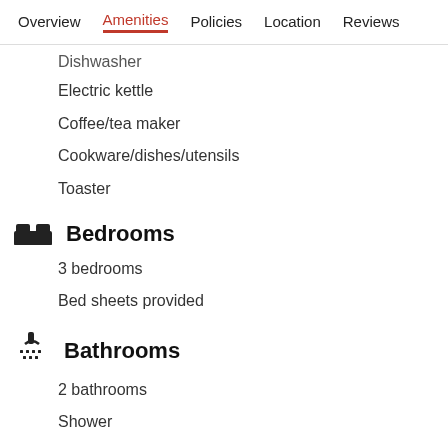Overview  Amenities  Policies  Location  Reviews
Dishwasher
Electric kettle
Coffee/tea maker
Cookware/dishes/utensils
Toaster
Bedrooms
3 bedrooms
Bed sheets provided
Bathrooms
2 bathrooms
Shower
Hair dryer
Towels provided
Living spaces